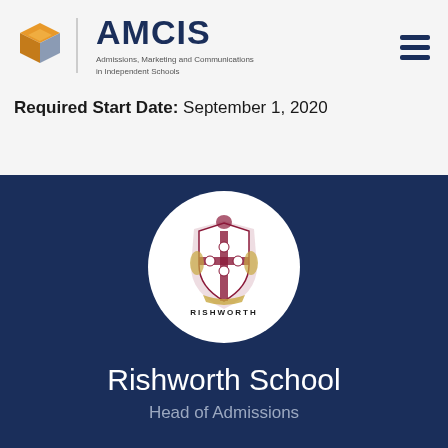[Figure (logo): AMCIS logo — cube icon in orange/gold/grey colors with AMCIS text and tagline 'Admissions, Marketing and Communications in Independent Schools']
Required Start Date: September 1, 2020
[Figure (logo): Rishworth School circular logo with school crest/coat of arms and text RISHWORTH SCHOOL]
Rishworth School
Head of Admissions